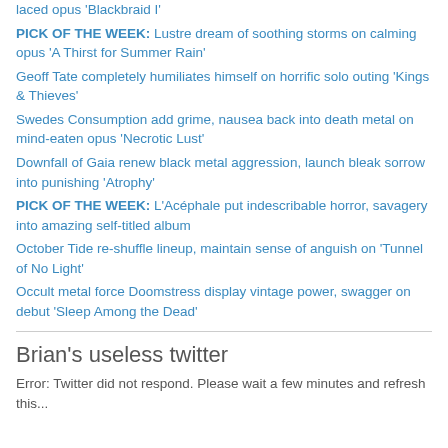laced opus 'Blackbraid I'
PICK OF THE WEEK: Lustre dream of soothing storms on calming opus 'A Thirst for Summer Rain'
Geoff Tate completely humiliates himself on horrific solo outing 'Kings & Thieves'
Swedes Consumption add grime, nausea back into death metal on mind-eaten opus 'Necrotic Lust'
Downfall of Gaia renew black metal aggression, launch bleak sorrow into punishing 'Atrophy'
PICK OF THE WEEK: L'Acéphale put indescribable horror, savagery into amazing self-titled album
October Tide re-shuffle lineup, maintain sense of anguish on 'Tunnel of No Light'
Occult metal force Doomstress display vintage power, swagger on debut 'Sleep Among the Dead'
Brian's useless twitter
Error: Twitter did not respond. Please wait a few minutes and refresh this...